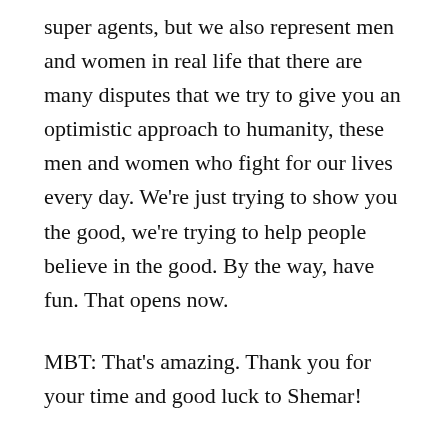super agents, but we also represent men and women in real life that there are many disputes that we try to give you an optimistic approach to humanity, these men and women who fight for our lives every day. We're just trying to show you the good, we're trying to help people believe in the good. By the way, have fun. That opens now.
MBT: That's amazing. Thank you for your time and good luck to Shemar!
CM : Peace be with you, buddy.